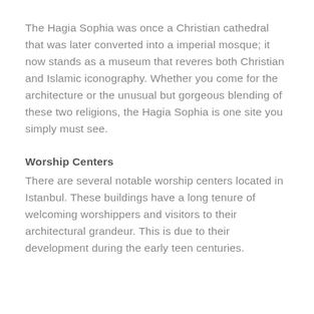The Hagia Sophia was once a Christian cathedral that was later converted into a imperial mosque; it now stands as a museum that reveres both Christian and Islamic iconography. Whether you come for the architecture or the unusual but gorgeous blending of these two religions, the Hagia Sophia is one site you simply must see.
Worship Centers
There are several notable worship centers located in Istanbul. These buildings have a long tenure of welcoming worshippers and visitors to their architectural grandeur. This is due to their development during the early teen centuries.